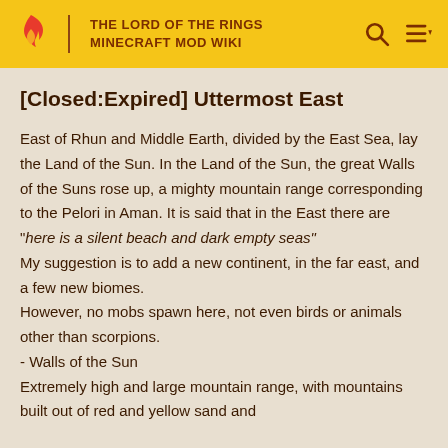THE LORD OF THE RINGS MINECRAFT MOD WIKI
[Closed:Expired] Uttermost East
East of Rhun and Middle Earth, divided by the East Sea, lay the Land of the Sun. In the Land of the Sun, the great Walls of the Suns rose up, a mighty mountain range corresponding to the Pelori in Aman. It is said that in the East there are "here is a silent beach and dark empty seas"
My suggestion is to add a new continent, in the far east, and a few new biomes.
However, no mobs spawn here, not even birds or animals other than scorpions.
- Walls of the Sun
Extremely high and large mountain range, with mountains built out of red and yellow sand and